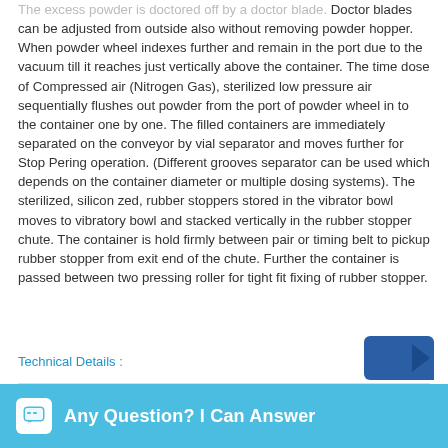The excess powder is doctored off by a doctor blade. Doctor blades can be adjusted from outside also without removing powder hopper. When powder wheel indexes further and remain in the port due to the vacuum till it reaches just vertically above the container. The time dose of Compressed air (Nitrogen Gas), sterilized low pressure air sequentially flushes out powder from the port of powder wheel in to the container one by one. The filled containers are immediately separated on the conveyor by vial separator and moves further for Stop Pering operation. (Different grooves separator can be used which depends on the container diameter or multiple dosing systems). The sterilized, silicon zed, rubber stoppers stored in the vibrator bowl moves to vibratory bowl and stacked vertically in the rubber stopper chute. The container is hold firmly between pair or timing belt to pickup rubber stopper from exit end of the chute. Further the container is passed between two pressing roller for tight fit fixing of rubber stopper.
Technical Details :